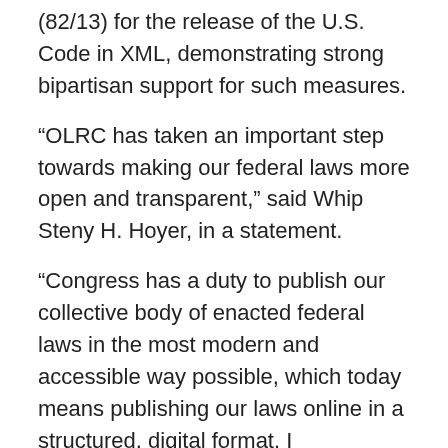(82/13) for the release of the U.S. Code in XML, demonstrating strong bipartisan support for such measures.
“OLRC has taken an important step towards making our federal laws more open and transparent,” said Whip Steny H. Hoyer, in a statement.
“Congress has a duty to publish our collective body of enacted federal laws in the most modern and accessible way possible, which today means publishing our laws online in a structured, digital format. I congratulate the OLRC for completing this significant accomplishment. This is another accomplishment of the Legislative Branch Bulk Data Task Force. The Task Force was created in a bipartisan effort during last year’s budget process. I want to thank Reps. Mike Honda and Mike Quigley for their leadership in this area, and Speaker Boehner and Leader